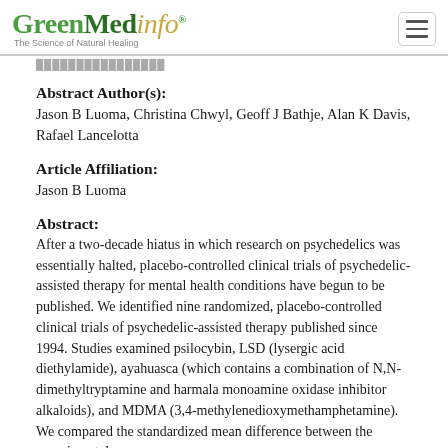GreenMedinfo® — The Science of Natural Healing
Abstract Author(s):
Jason B Luoma, Christina Chwyl, Geoff J Bathje, Alan K Davis, Rafael Lancelotta
Article Affiliation:
Jason B Luoma
Abstract:
After a two-decade hiatus in which research on psychedelics was essentially halted, placebo-controlled clinical trials of psychedelic-assisted therapy for mental health conditions have begun to be published. We identified nine randomized, placebo-controlled clinical trials of psychedelic-assisted therapy published since 1994. Studies examined psilocybin, LSD (lysergic acid diethylamide), ayahuasca (which contains a combination of N,N-dimethyltryptamine and harmala monoamine oxidase inhibitor alkaloids), and MDMA (3,4-methylenedioxymethamphetamine). We compared the standardized mean difference between the experimental